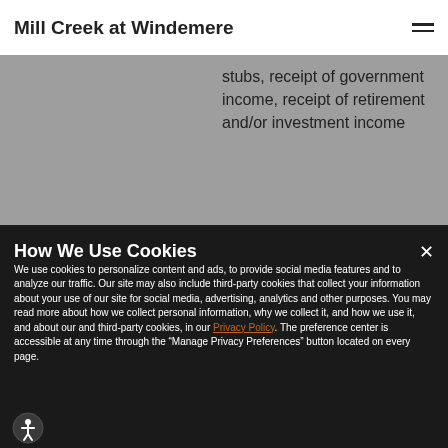Mill Creek at Windemere
stubs, receipt of government income, receipt of retirement and/or investment income
How We Use Cookies
We use cookies to personalize content and ads, to provide social media features and to analyze our traffic. Our site may also include third-party cookies that collect your information about your use of our site for social media, advertising, analytics and other purposes. You may read more about how we collect personal information, why we collect it, and how we use it, and about our and third-party cookies, in our Privacy Policy. The preference center is accessible at any time through the “Manage Privacy Preferences” button located on every page.